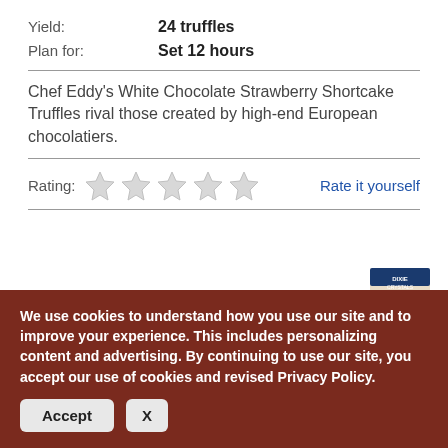Yield: 24 truffles
Plan for: Set 12 hours
Chef Eddy's White Chocolate Strawberry Shortcake Truffles rival those created by high-end European chocolatiers.
Rating: [5 empty stars] Rate it yourself
[Figure (illustration): Two circular stamp badges: one reads 'Tested by Dixie Crystals' with a checkmark, and one reads 'Chef Eddy Recipe' with a chef hat icon. To the right is a product box image.]
Products Used
We use cookies to understand how you use our site and to improve your experience. This includes personalizing content and advertising. By continuing to use our site, you accept our use of cookies and revised Privacy Policy.
Accept   X